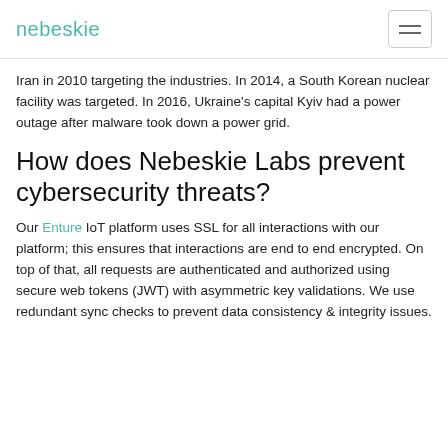nebeskie
Iran in 2010 targeting the industries. In 2014, a South Korean nuclear facility was targeted. In 2016, Ukraine's capital Kyiv had a power outage after malware took down a power grid.
How does Nebeskie Labs prevent cybersecurity threats?
Our Enture IoT platform uses SSL for all interactions with our platform; this ensures that interactions are end to end encrypted. On top of that, all requests are authenticated and authorized using secure web tokens (JWT) with asymmetric key validations. We use redundant sync checks to prevent data consistency & integrity issues.